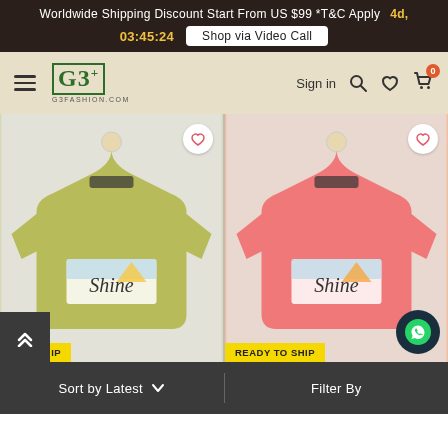Worldwide Shipping Discount Start From US $99 *T&C Apply   4d, 03:45:24   Shop via Video Call
[Figure (screenshot): G3+ Fashion website navigation bar with hamburger menu, G3+ logo, Sign in link, search, wishlist and cart icons]
[Figure (photo): Yellow-green kids t-shirt with 'Shine' graphic print on a wooden hanger, with READY TO SHIP badge]
[Figure (photo): Coral/salmon kids t-shirt with 'Shine' graphic print on a wooden hanger, with READY TO SHIP badge]
Sort by Latest   Filter By